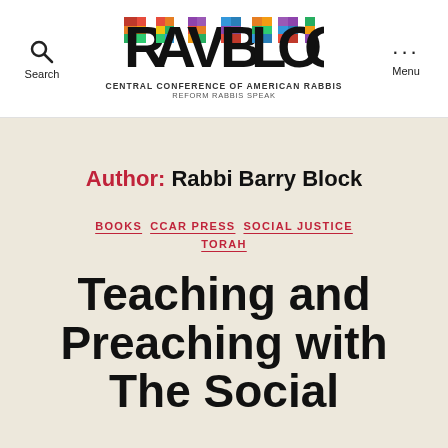RAV BLOG — CENTRAL CONFERENCE OF AMERICAN RABBIS — REFORM RABBIS SPEAK
Author: Rabbi Barry Block
BOOKS
CCAR PRESS
SOCIAL JUSTICE
TORAH
Teaching and Preaching with The Social